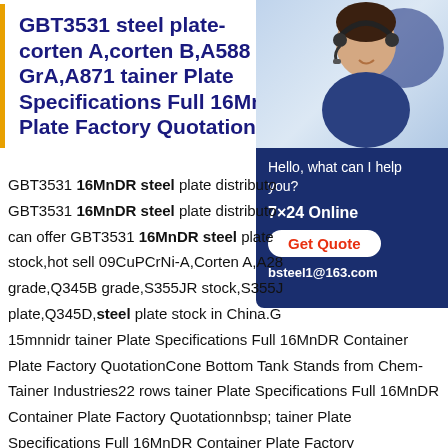GBT3531 steel plate-corten A,corten B,A588 GrA,A871 tainer Plate Specifications Full 16MnDR Container Plate Factory Quotation
[Figure (photo): Customer service representative with headset on blue background with chat widget showing Hello what can I help you, 7x24 Online, Get Quote button, and bsteel1@163.com contact]
GBT3531 16MnDR steel plate distributor. GBT3531 16MnDR steel plate distributor. can offer GBT3531 16MnDR steel plate stock,hot sell 09CuPCrNi-A,Corten A,A28 grade,Q345B grade,S355JR stock,S355J plate,Q345D,steel plate stock in China.G 15mnnidr tainer Plate Specifications Full 16MnDR Container Plate Factory QuotationCone Bottom Tank Stands from Chem-Tainer Industries22 rows tainer Plate Specifications Full 16MnDR Container Plate Factory Quotationnbsp; tainer Plate Specifications Full 16MnDR Container Plate Factory Quotation#0183; tainer Plate Specifications Full 16MnDR